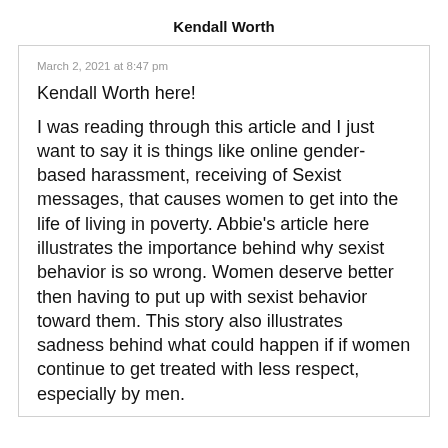Kendall Worth
March 2, 2021 at 8:47 pm
Kendall Worth here!
I was reading through this article and I just want to say it is things like online gender-based harassment, receiving of Sexist messages, that causes women to get into the life of living in poverty. Abbie’s article here illustrates the importance behind why sexist behavior is so wrong. Women deserve better then having to put up with sexist behavior toward them. This story also illustrates sadness behind what could happen if if women continue to get treated with less respect, especially by men.